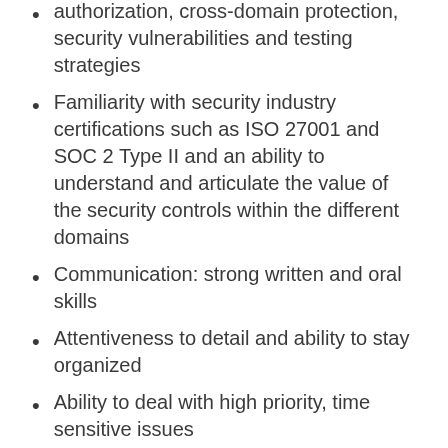authorization, cross-domain protection, security vulnerabilities and testing strategies
Familiarity with security industry certifications such as ISO 27001 and SOC 2 Type II and an ability to understand and articulate the value of the security controls within the different domains
Communication: strong written and oral skills
Attentiveness to detail and ability to stay organized
Ability to deal with high priority, time sensitive issues
Dependability: Meet commitments, work independently, accept accountability, be adaptable to change, set personal standards, and strive for excellence